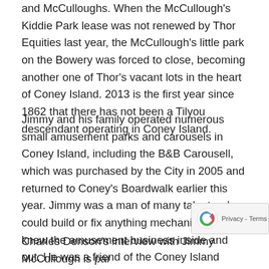and McCulloughs. When the McCullough's Kiddie Park lease was not renewed by Thor Equities last year, the McCullough's little park on the Bowery was forced to close, becoming another one of Thor's vacant lots in the heart of Coney Island. 2013 is the first year since 1862 that there has not been a Tilyou descendant operating in Coney Island.
Jimmy and his family operated numerous small amusement parks and carousels in Coney Island, including the B&B Carousell, which was purchased by the City in 2005 and returned to Coney's Boardwalk earlier this year. Jimmy was a man of many talents who could build or fix anything mechanical and he knew the amusement business inside and out. He was a friend of the Coney Island History Project and will be sorely missed by all those who knew him and worked with him. His death brings a close to a golden age of Coney Island History --Charles Denson
Charles Denson's interview with Jimmy McCullough is part of the Coney Island History Project's Oral History Archive and may be listened to online here.